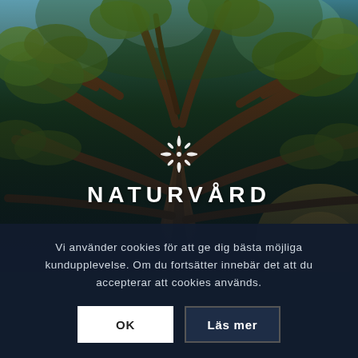[Figure (photo): Looking upward at a massive old deciduous tree with thick spreading branches against a sky background, leaves visible around the edges with warm golden-green tones]
NATURVÅRD
Vi använder cookies för att ge dig bästa möjliga kundupplevelse. Om du fortsätter innebär det att du accepterar att cookies används.